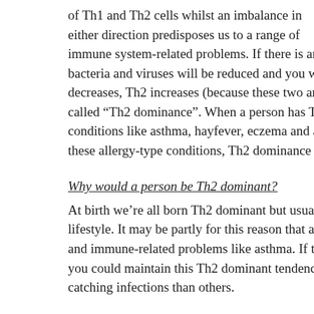of Th1 and Th2 cells whilst an imbalance in either direction predisposes us to a range of immune system-related problems. If there is an imbalance, whe bacteria and viruses will be reduced and you will be more prone decreases, Th2 increases (because these two are balanaced in a s called "Th2 dominance". When a person has Th2 dominance the conditions like asthma, hayfever, eczema and allergies. If you h these allergy-type conditions, Th2 dominance may well be behi
Why would a person be Th2 dominant?
At birth we're all born Th2 dominant but usually this is balance lifestyle. It may be partly for this reason that a lot of children gr and immune-related problems like asthma. If this Th2 dominanc you could maintain this Th2 dominant tendency throughout life, catching infections than others.
How do you balance the Th1-Th2 ratio to build up a stronger im
One of the most effective ways of balancing out a poor Th1-Th2 a healthy immune system around our gut, where approximately